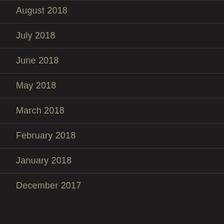August 2018
July 2018
June 2018
May 2018
March 2018
February 2018
January 2018
December 2017